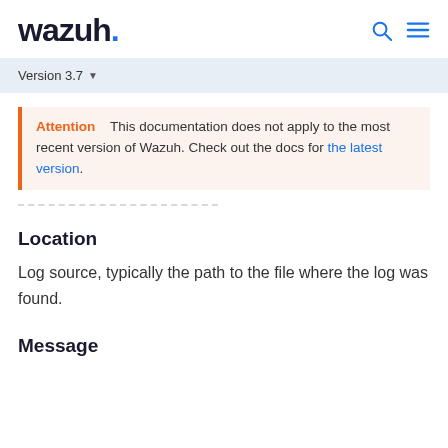wazuh.
Version 3.7
Attention   This documentation does not apply to the most recent version of Wazuh. Check out the docs for the latest version.
Location
Log source, typically the path to the file where the log was found.
Message